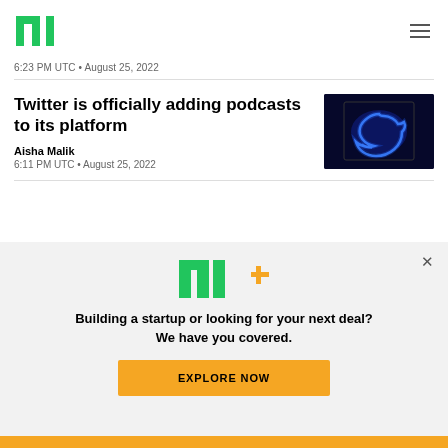[Figure (logo): TechCrunch TC logo in green]
6:23 PM UTC • August 25, 2022
Twitter is officially adding podcasts to its platform
[Figure (photo): Twitter bird logo glowing blue on dark background]
Aisha Malik
6:11 PM UTC • August 25, 2022
[Figure (logo): TC+ logo with green TC and orange plus sign]
Building a startup or looking for your next deal? We have you covered.
EXPLORE NOW